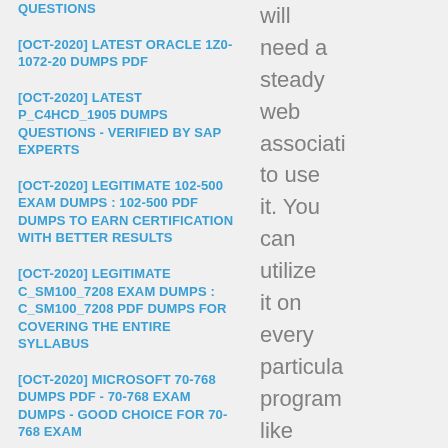QUESTIONS
[OCT-2020] LATEST ORACLE 1Z0-1072-20 DUMPS PDF
[OCT-2020] LATEST P_C4HCD_1905 DUMPS QUESTIONS - VERIFIED BY SAP EXPERTS
[OCT-2020] LEGITIMATE 102-500 EXAM DUMPS : 102-500 PDF DUMPS TO EARN CERTIFICATION WITH BETTER RESULTS
[OCT-2020] LEGITIMATE C_SM100_7208 EXAM DUMPS : C_SM100_7208 PDF DUMPS FOR COVERING THE ENTIRE SYLLABUS
[OCT-2020] MICROSOFT 70-768 DUMPS PDF - 70-768 EXAM DUMPS - GOOD CHOICE FOR 70-768 EXAM
will need a steady web associati to use it. You can utilize it on every particula program like Chrome, Firefox, Opera, Safari, and so